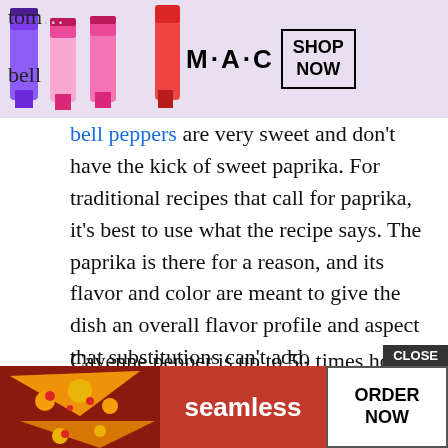[Figure (photo): MAC cosmetics advertisement showing lipsticks in purple, pink, and red with MAC logo and SHOP NOW button]
bell peppers are very sweet and don't have the kick of sweet paprika. For traditional recipes that call for paprika, it's best to use what the recipe says. The paprika is there for a reason, and its flavor and color are meant to give the dish an overall flavor profile and aspect that substitutions can't add.
Cayenne pepper is up to 50 times hotter than sweet paprika, so a 1:1 swap wouldn't work unless you want some heat. In this case, the straight swap would be 1/3 of a teaspoon of cayenne for one teaspoon of paprika. Make a decision based on what you know, and the deta... subs...
[Figure (photo): Seamless food delivery advertisement showing pizza image, Seamless logo, and ORDER NOW button with CLOSE button]